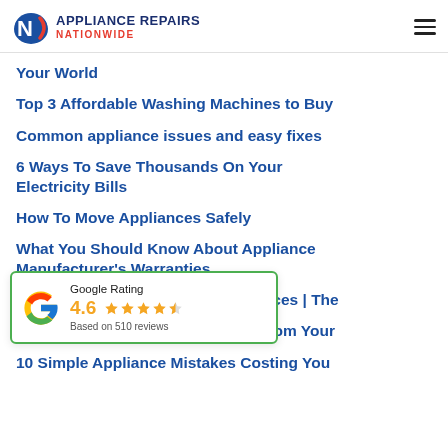Appliance Repairs Nationwide
Your World
Top 3 Affordable Washing Machines to Buy
Common appliance issues and easy fixes
6 Ways To Save Thousands On Your Electricity Bills
How To Move Appliances Safely
What You Should Know About Appliance Manufacturer's Warranties
Autumn Cleaning For Your Appliances | The
[Figure (infographic): Google Rating badge showing 4.6 stars based on 510 reviews]
er Stains from Your
10 Simple Appliance Mistakes Costing You